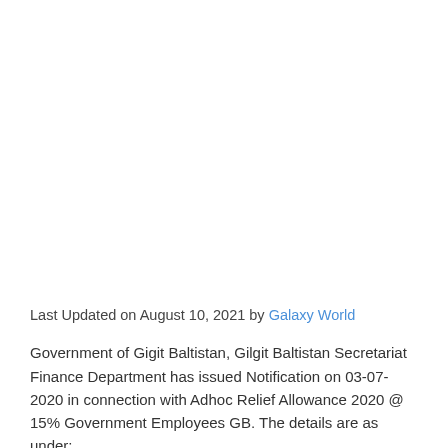Last Updated on August 10, 2021 by Galaxy World
Government of Gigit Baltistan, Gilgit Baltistan Secretariat Finance Department has issued Notification on 03-07-2020 in connection with Adhoc Relief Allowance 2020 @ 15% Government Employees GB. The details are as under: